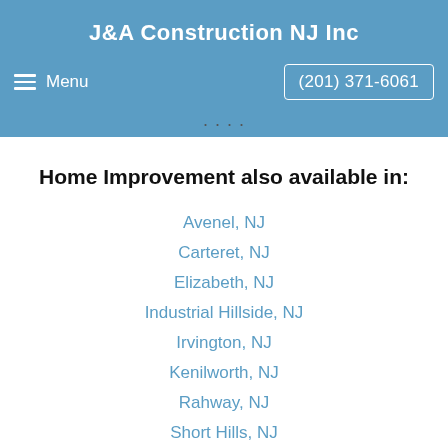J&A Construction NJ Inc
Menu   (201) 371-6061
Home Improvement also available in:
Avenel, NJ
Carteret, NJ
Elizabeth, NJ
Industrial Hillside, NJ
Irvington, NJ
Kenilworth, NJ
Rahway, NJ
Short Hills, NJ